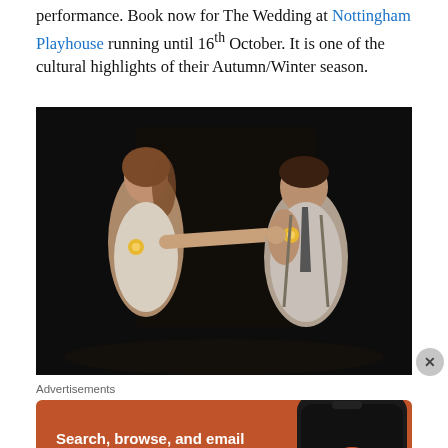performance. Book now for The Wedding at Nottingham Playhouse running until 16th October. It is one of the cultural highlights of their Autumn/Winter season.
[Figure (photo): Two performers on a dark stage — a woman in a light tank top extending her arm toward a man in a shirt and tie who is crouching, both holding yellow flowers]
Advertisements
[Figure (infographic): DuckDuckGo advertisement on orange background: 'Search, browse, and email with more privacy. All in One Free App' with a phone mockup showing DuckDuckGo logo]